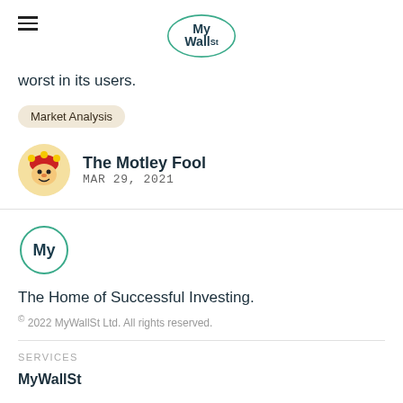MyWallSt
worst in its users.
Market Analysis
The Motley Fool
MAR 29, 2021
[Figure (logo): MyWallSt logo small circle with 'My' text]
The Home of Successful Investing.
© 2022 MyWallSt Ltd. All rights reserved.
SERVICES
MyWallSt